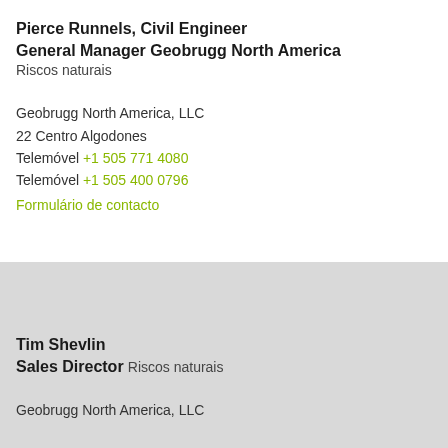Pierce Runnels, Civil Engineer
General Manager Geobrugg North America
Riscos naturais
Geobrugg North America, LLC
22 Centro Algodones
Telemóvel +1 505 771 4080
Telemóvel +1 505 400 0796
Formulário de contacto
Tim Shevlin
Sales Director
Riscos naturais
Geobrugg North America, LLC